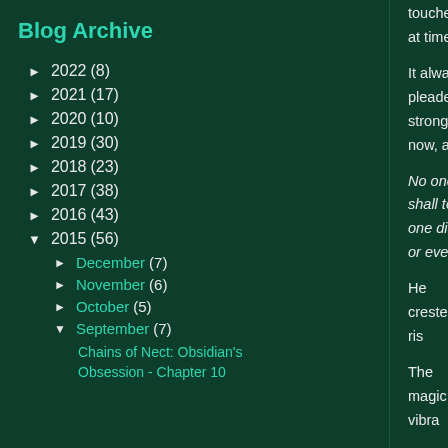Blog Archive
► 2022 (8)
► 2021 (17)
► 2020 (10)
► 2019 (30)
► 2018 (23)
► 2017 (38)
► 2016 (43)
▼ 2015 (56)
► December (7)
► November (6)
► October (5)
▼ September (7)
Chains of Nect: Obsidian's Obsession - Chapter 10
touched, at time

It always pleade stronger now, a

No one shall tou one did or ever

He crested a ris

The magic vibra

Damian circled inside, not only intended to nev

Instead of just fi Obsidian. She le gate, could she' especially so cl

"Sid. What are y